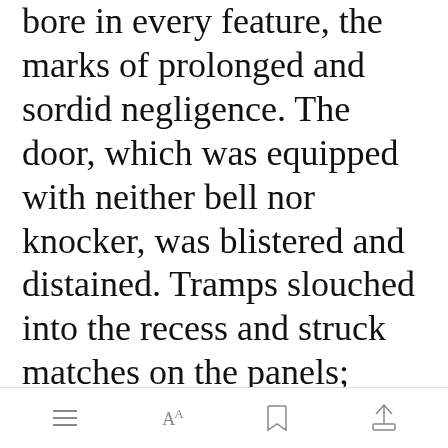bore in every feature, the marks of prolonged and sordid negligence. The door, which was equipped with neither bell nor knocker, was blistered and distained. Tramps slouched into the recess and struck matches on the panels; children kept shop upon the steps; the schoolboy had tried his knife on the mouldings; and for close on a generation, no one had appeared to drive away these random visitors or
[Figure (screenshot): Green 'Open in app' button overlay on text]